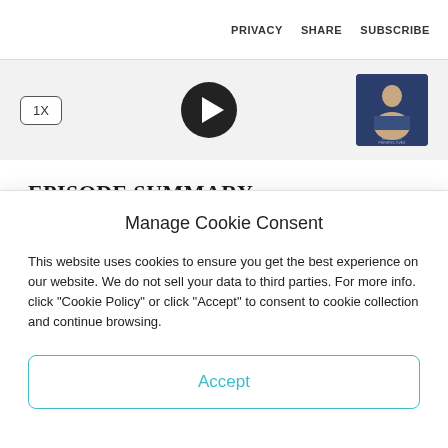PRIVACY   SHARE   SUBSCRIBE
[Figure (screenshot): Audio player bar with 1X speed button, play button, and podcast thumbnail image]
EPISODE SUMMARY
Today we continue the theme of “Empowering Grace” for
Manage Cookie Consent
This website uses cookies to ensure you get the best experience on our website. We do not sell your data to third parties. For more info. click "Cookie Policy" or click "Accept" to consent to cookie collection and continue browsing.
Accept